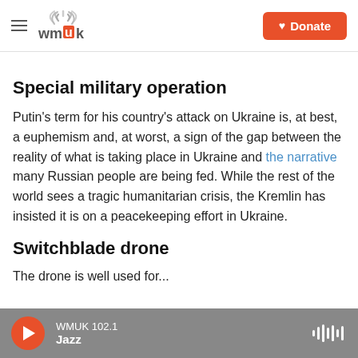wmuk | Donate
Special military operation
Putin's term for his country's attack on Ukraine is, at best, a euphemism and, at worst, a sign of the gap between the reality of what is taking place in Ukraine and the narrative many Russian people are being fed. While the rest of the world sees a tragic humanitarian crisis, the Kremlin has insisted it is on a peacekeeping effort in Ukraine.
Switchblade drone
The drone is well used for...
WMUK 102.1 Jazz